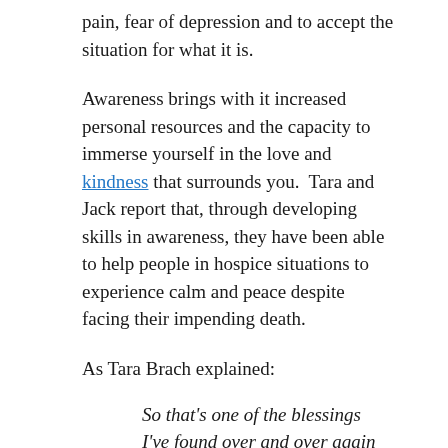pain, fear of depression and to accept the situation for what it is.
Awareness brings with it increased personal resources and the capacity to immerse yourself in the love and kindness that surrounds you. Tara and Jack report that, through developing skills in awareness, they have been able to help people in hospice situations to experience calm and peace despite facing their impending death.
As Tara Brach explained:
So that's one of the blessings I've found over and over again in this [awareness] practice is that I might have a reactivity to different